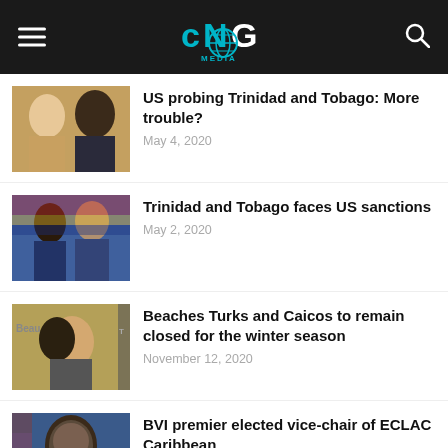CNG MEDIA
US probing Trinidad and Tobago: More trouble? — May 4, 2020
Trinidad and Tobago faces US sanctions — May 2, 2020
Beaches Turks and Caicos to remain closed for the winter season — November 12, 2020
BVI premier elected vice-chair of ECLAC Caribbean — September 16, 2020
Plot to destabilise Trinidad and Tobago